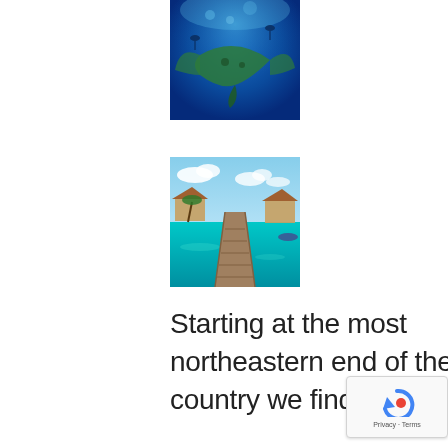[Figure (photo): Underwater photo showing divers and a manta ray or sea creature in deep blue water with green coloring]
[Figure (photo): Tropical dock/pier extending over turquoise water with overwater bungalows and palm trees on a sunny day]
Starting at the most northeastern end of the country we find...